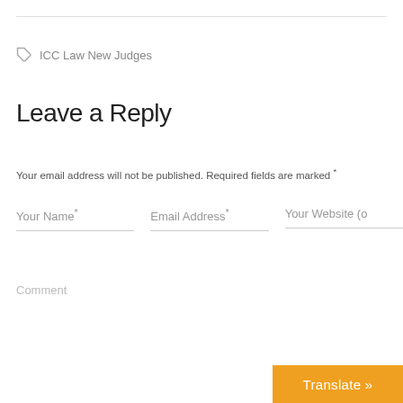ICC Law New Judges
Leave a Reply
Your email address will not be published. Required fields are marked *
Your Name*
Email Address*
Your Website (o
Comment
Translate »